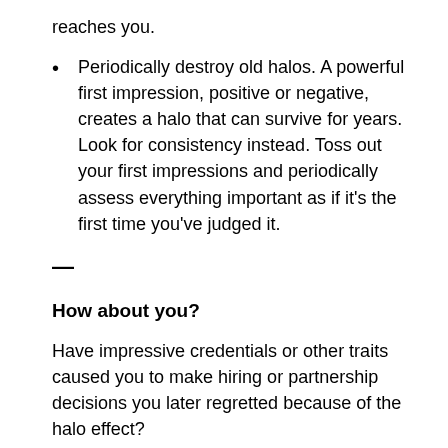reaches you.
Periodically destroy old halos. A powerful first impression, positive or negative, creates a halo that can survive for years. Look for consistency instead. Toss out your first impressions and periodically assess everything important as if it’s the first time you’ve judged it.
—
How about you?
Have impressive credentials or other traits caused you to make hiring or partnership decisions you later regretted because of the halo effect?